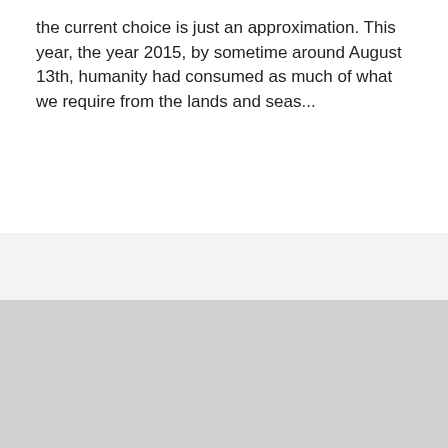the current choice is just an approximation. This year, the year 2015, by sometime around August 13th, humanity had consumed as much of what we require from the lands and seas...
[Figure (other): Two stacked colored blocks: a light gray block on top and a darker gray block below, separated by a thin horizontal rule from the text above.]